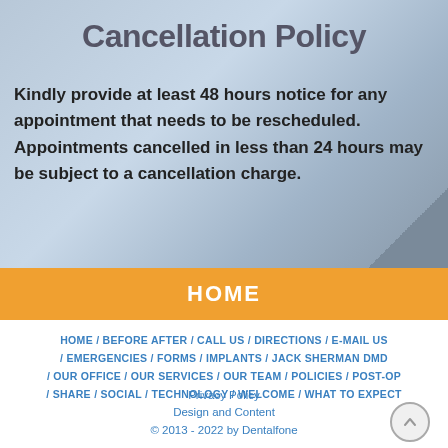Cancellation Policy
Kindly provide at least 48 hours notice for any appointment that needs to be rescheduled.  Appointments cancelled in less than 24 hours may be subject to a cancellation charge.
HOME
HOME / BEFORE AFTER / CALL US / DIRECTIONS / E-MAIL US / EMERGENCIES / FORMS / IMPLANTS / JACK SHERMAN DMD / OUR OFFICE / OUR SERVICES / OUR TEAM / POLICIES / POST-OP / SHARE / SOCIAL / TECHNOLOGY / WELCOME / WHAT TO EXPECT
Privacy Policy
Design and Content
© 2013 - 2022 by Dentalfone